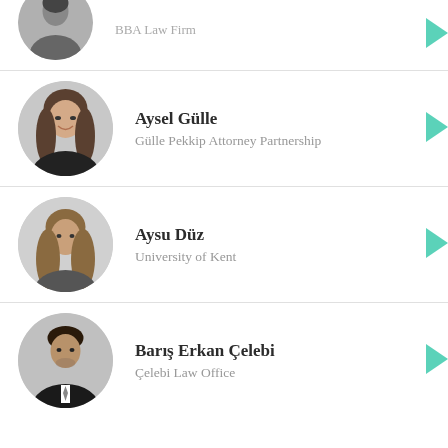[Figure (photo): Partial circular portrait photo of a woman, cropped at top]
BBA Law Firm
[Figure (photo): Circular portrait photo of Aysel Gülle, smiling woman]
Aysel Gülle
Gülle Pekkip Attorney Partnership
[Figure (photo): Circular portrait photo of Aysu Düz, woman with long hair]
Aysu Düz
University of Kent
[Figure (photo): Circular portrait photo of Barış Erkan Çelebi, man in suit]
Barış Erkan Çelebi
Çelebi Law Office